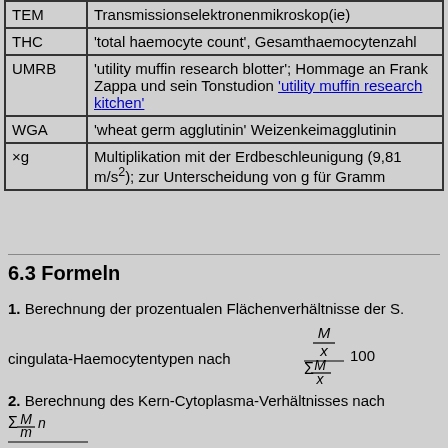| Abbr. | Meaning |
| --- | --- |
| TEM | Transmissionselektronenmikroskop(ie) |
| THC | 'total haemocyte count', Gesamthaemocytenzahl |
| UMRB | 'utility muffin research blotter'; Hommage an Frank Zappa und sein Tonstudion 'utility muffin research kitchen' |
| WGA | 'wheat germ agglutinin' Weizenkeimagglutinin |
| ×g | Multiplikation mit der Erdbeschleunigung (9,81 m/s²); zur Unterscheidung von g für Gramm |
6.3 Formeln
1. Berechnung der prozentualen Flächenverhältnisse der S. cingulata-Haemocytentypen nach (M/x) / Σ(M/x) · 100
2. Berechnung des Kern-Cytoplasma-Verhältnisses nach